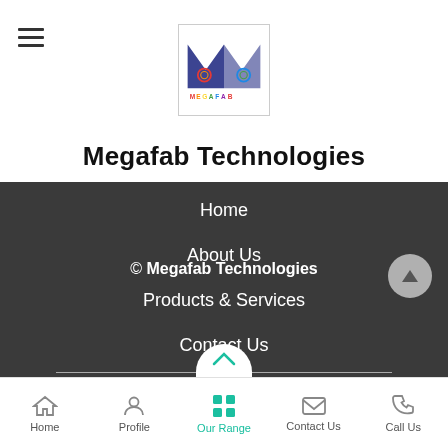[Figure (logo): Megafab Technologies logo with stylized M and colorful text]
Megafab Technologies
Home
About Us
Products & Services
Contact Us
Share via
© Megafab Technologies
Home  Profile  Our Range  Contact Us  Call Us